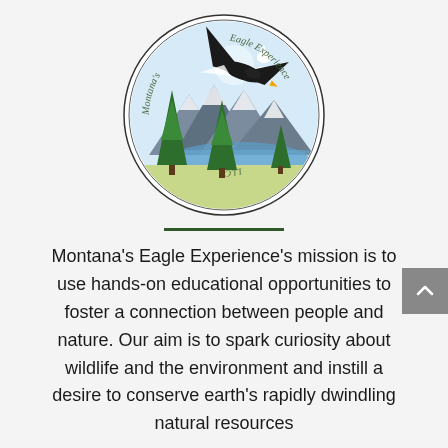[Figure (logo): Montana's Eagle Experience LLC circular logo featuring a bald eagle in flight over a mountain and lake landscape with pine trees, surrounded by the text 'Montana's Eagle Experience LLC']
Montana's Eagle Experience's mission is to use hands-on educational opportunities to foster a connection between people and nature. Our aim is to spark curiosity about wildlife and the environment and instill a desire to conserve earth's rapidly dwindling natural resources